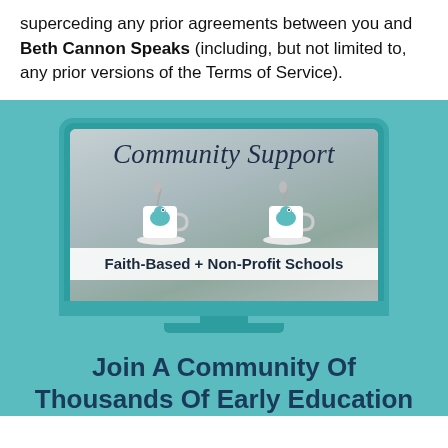superceding any prior agreements between you and Beth Cannon Speaks (including, but not limited to, any prior versions of the Terms of Service).
[Figure (illustration): Laptop computer illustration showing a 'Community Support - Faith-Based + Non-Profit Schools' graphic on screen, with two decorative bird mugs on a table]
Join A Community Of Thousands Of Early Education